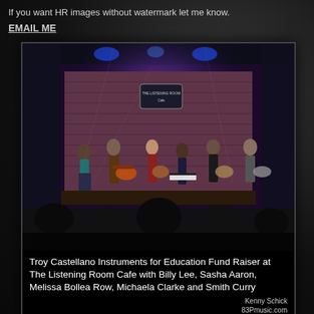If you want HR images without watermark let me know.
EMAIL ME
[Figure (photo): Concert photo at The Listening Room Cafe showing performers on stage with instruments (guitars, keyboard) in front of a purple/blue lit brick backdrop with 'The Listening Room Cafe' sign, audience members visible in the foreground.]
Troy Castellano Instruments for Education Fund Raiser at The Listening Room Cafe with Billy Lee, Sasha Aaron, Melissa Bollea Row, Michaela Clarke and Smith Curry
Kenny Schick
83Pmusic.com